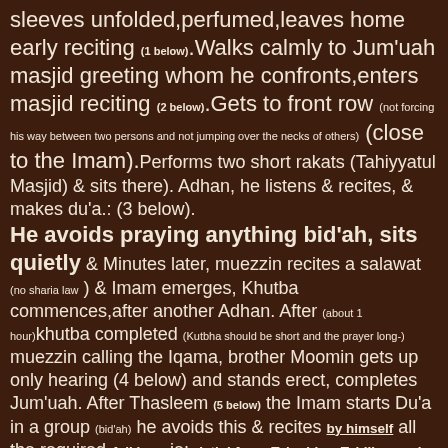sleeves unfolded,perfumed,leaves home early reciting (1 below).Walks calmly to Jum'uah masjid greeting whom he confronts,enters masjid reciting (2 below).Gets to front row (not forcing his way between two persons and not jumping over the necks of others) (close to the Imam).Performs two short rakats (Tahiyyatul Masjid) & sits there). Adhan, he listens & recites, & makes du'a.: (3 below). He avoids praying anything bid'ah, sits quietly & Minutes later, muezzin recites a salawat (no sharia law) & Imam emerges, Khutba commences,after another Adhan. After (about 1 hour)khutba completed (Kutbha should be short and the prayer long-) muezzin calling the Iqama, brother Moomin gets up only hearing (4 below) and stands erect, completes Jum'uah. After Thasleem (5 below) the Imam starts Du'a in a group (bid'ah) he avoids this & recites by himself all the required Adkhars ie: Istighfar Tahmid, Tahlil, and Takbir as in 6,7,8,9,10,11,12,13,14,15,16 &17 below. (this is the Du'a for the